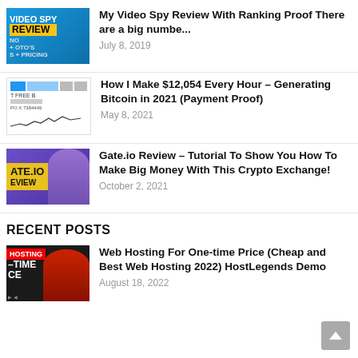[Figure (photo): Thumbnail for Video Spy Review blog post – blue gradient background with yellow 'REVIEW' banner and white 'VIDEO SPY' text]
My Video Spy Review With Ranking Proof There are a big numbe...
July 8, 2019
[Figure (screenshot): Thumbnail showing Bitcoin trading chart with 'T FREE B' text and financial chart line graph]
How I Make $12,054 Every Hour – Generating Bitcoin in 2021 (Payment Proof)
May 8, 2021
[Figure (screenshot): Thumbnail for Gate.io Review with purple background showing 'ATE.IO' and 'EVIEW' text with a person]
Gate.io Review – Tutorial To Show You How To Make Big Money With This Crypto Exchange!
October 2, 2021
RECENT POSTS
[Figure (photo): Thumbnail for Web Hosting post – black background with red 'HOSTING' banner, white text '-TIME CE' and man in red shirt pointing]
Web Hosting For One-time Price (Cheap and Best Web Hosting 2022) HostLegends Demo
August 18, 2022